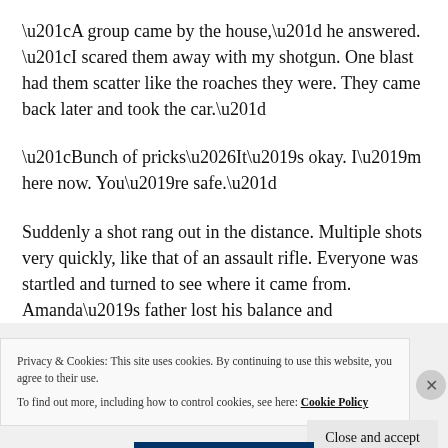“A group came by the house,” he answered. “I scared them away with my shotgun. One blast had them scatter like the roaches they were. They came back later and took the car.”
“Bunch of pricks…It’s okay. I’m here now. You’re safe.”
Suddenly a shot rang out in the distance. Multiple shots very quickly, like that of an assault rifle. Everyone was startled and turned to see where it came from. Amanda’s father lost his balance and
Privacy & Cookies: This site uses cookies. By continuing to use this website, you agree to their use.
To find out more, including how to control cookies, see here: Cookie Policy
Close and accept